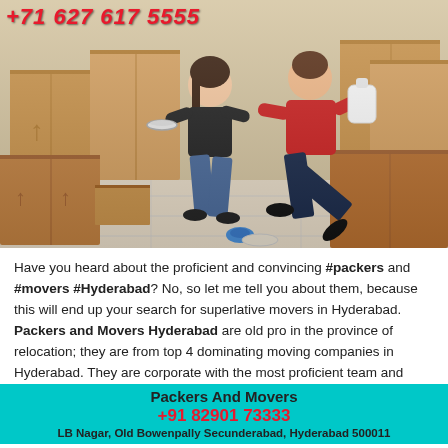[Figure (photo): Two people kneeling on floor packing/unpacking items surrounded by cardboard moving boxes. Phone number +71 627 617 5555 visible at top left in red italic text.]
Have you heard about the proficient and convincing #packers and #movers #Hyderabad? No, so let me tell you about them, because this will end up your search for superlative movers in Hyderabad. Packers and Movers Hyderabad are old pro in the province of relocation; they are from top 4 dominating moving companies in Hyderabad. They are corporate with the most proficient team and have adequate assets to provide satisfactory services to their cu
Packers And Movers
+91 82901 73333
LB Nagar, Old Bowenpally Secunderabad, Hyderabad 500011
#cheap and #best packers and movers in Hyderabad. They assist almost in every kind of relocation process in Hyderabad, whether it is #household #shifting in Hyderabad, #office #shifting in Hyderabad, #pet and #plant relocation in Hyderabad, #car
Packers And Movers
+91 82901 73333
Swarndhama Colony, Old BowenPally, Secunderabad 500011